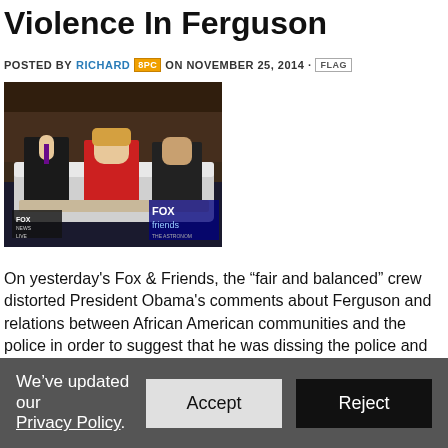Violence In Ferguson
POSTED BY RICHARD 8PC ON NOVEMBER 25, 2014 · FLAG
[Figure (screenshot): Fox & Friends television screenshot showing three hosts seated on a couch with FOX friends logo visible]
On yesterday's Fox & Friends, the “fair and balanced” crew distorted President Obama's comments about Ferguson and relations between African American communities and the police in order to suggest that he was dissing the police and encouraging violence.
After a meaningless FOX News Alert, Elisabeth Hasselbeck said, “Presid
We’ve updated our Privacy Policy.
Accept
Reject